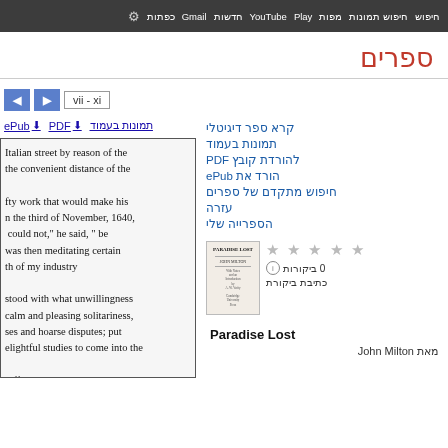חיפוש חיפוש תמונות מפות YouTube חדשות Gmail כפתות
ספרים
vii - xi
ePub ↓  PDF ↓  תמונות בעמוד
Italian street by reason of the
the convenient distance of the

fty work that would make his
n the third of November, 1640,
could not," he said, " be
was then meditating certain
th of my industry

stood with what unwillingness
alm and pleasing solitariness,
ses and hoarse disputes; put
elightful studies to come into the

rafford, the impeachment and
קרא ספר דיגיטלי
תמונות בעמוד
להורדת קובץ PDF
הורד את ePub
חיפוש מתקדם של ספרים
עזרה
הספרייה שלי
[Figure (other): Book cover thumbnail for Paradise Lost]
0 ביקורות
כתיבת ביקורת
Paradise Lost
מאת John Milton